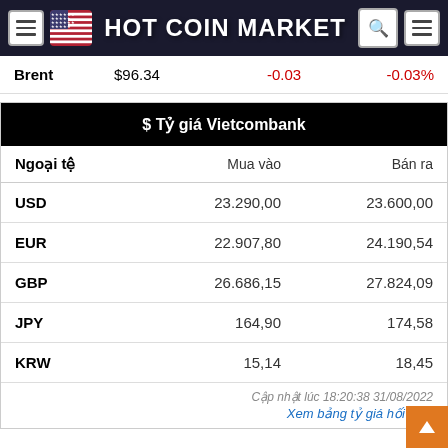HOT COIN MARKET
|  |  |  |  |
| --- | --- | --- | --- |
| Brent | $96.34 | -0.03 | -0.03% |
| $ Tỷ giá Vietcombank |  |  |
| --- | --- | --- |
| Ngoại tệ | Mua vào | Bán ra |
| USD | 23.290,00 | 23.600,00 |
| EUR | 22.907,80 | 24.190,54 |
| GBP | 26.686,15 | 27.824,09 |
| JPY | 164,90 | 174,58 |
| KRW | 15,14 | 18,45 |
Cập nhật lúc 18:20:38 31/08/2022
Xem bảng tỷ giá hối đoái